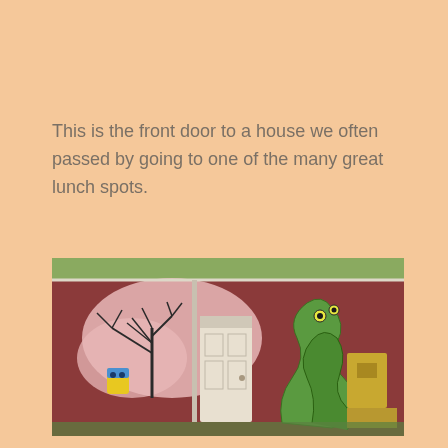This is the front door to a house we often passed by going to one of the many great lunch spots.
[Figure (photo): A building exterior with colorful street art murals. The wall is painted dark red/maroon with a large pink cloud-like shape and bare black tree branches on the left. A white weathered front door is in the center. On the right side, a large green serpentine or vine-like creature is painted climbing the wall. A small yellow cartoon owl figure hangs on the left side. The roof trim is green. Various objects are stacked against the right side of the wall.]